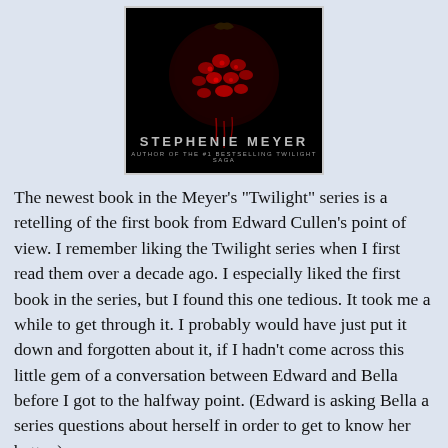[Figure (illustration): Book cover with dark background showing a pomegranate, with text 'STEPHENIE MEYER' and 'AUTHOR OF THE #1 BESTSELLING TWILIGHT SAGA']
The newest book in the Meyer's "Twilight" series is a retelling of the first book from Edward Cullen's point of view. I remember liking the Twilight series when I first read them over a decade ago. I especially liked the first book in the series, but I found this one tedious. It took me a while to get through it. I probably would have just put it down and forgotten about it, if I hadn't come across this little gem of a conversation between Edward and Bella before I got to the halfway point. (Edward is asking Bella a series questions about herself in order to get to know her better.)
"What's your favorite place to spend time?"
"The library." She grinned. "If I hadn't already outed myself as a huge nerd, I guess that makes it obvious. I feel like I've read every fiction book in the little branch near me. The first place I went when I got my